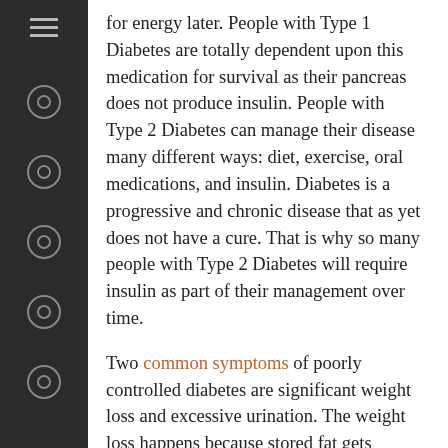for energy later. People with Type 1 Diabetes are totally dependent upon this medication for survival as their pancreas does not produce insulin. People with Type 2 Diabetes can manage their disease many different ways: diet, exercise, oral medications, and insulin. Diabetes is a progressive and chronic disease that as yet does not have a cure. That is why so many people with Type 2 Diabetes will require insulin as part of their management over time.
Two common symptoms of poorly controlled diabetes are significant weight loss and excessive urination. The weight loss happens because stored fat gets broken down to provide enough fuel for bodily functions (heart and lungs, for example) to operate and maintain life. You may start to notice the numbers on the scale decrease, regardless of what